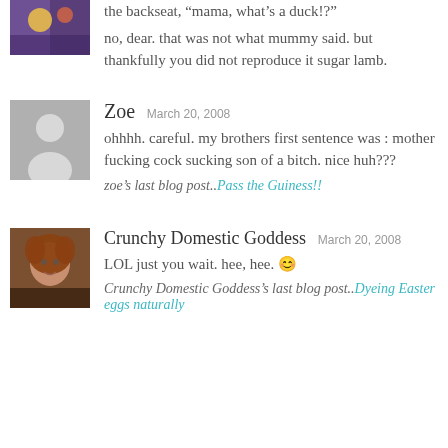the backseat, “mama, what’s a duck!?”

no, dear. that was not what mummy said. but thankfully you did not reproduce it sugar lamb.
Zoe  March 20, 2008
ohhhh. careful. my brothers first sentence was : mother fucking cock sucking son of a bitch. nice huh???
zoe’s last blog post..Pass the Guiness!!
Crunchy Domestic Goddess  March 20, 2008
LOL just you wait. hee, hee. 😊
Crunchy Domestic Goddess’s last blog post..Dyeing Easter eggs naturally